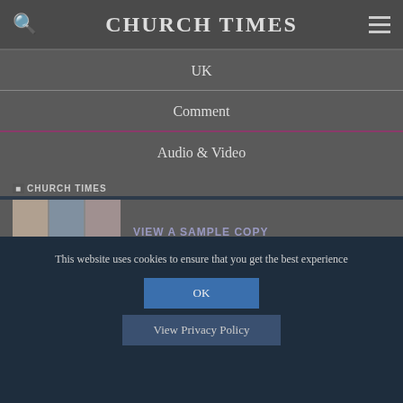CHURCH TIMES
UK
Comment
Audio & Video
[Figure (logo): Church Times magazine logo and collage of magazine covers]
VIEW A SAMPLE COPY
Subscribe >
This website uses cookies to ensure that you get the best experience
OK
View Privacy Policy